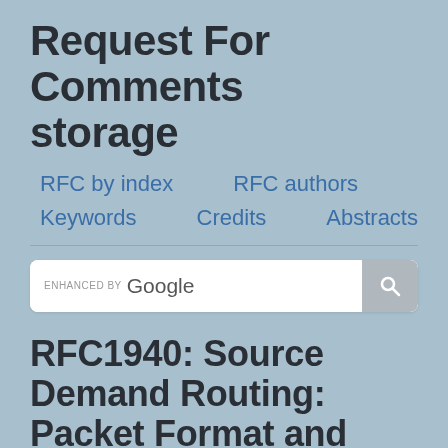Request For Comments storage
RFC by index
RFC authors
Keywords
Credits
Abstracts
[Figure (screenshot): Search bar with ENHANCED BY Google label and search button icon]
RFC1940: Source Demand Routing: Packet Format and Forwarding Specification (Version 1)